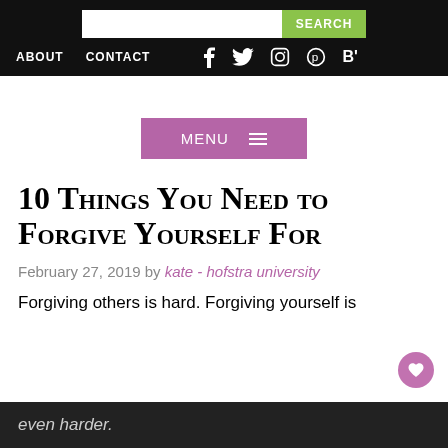ABOUT  CONTACT  [social icons: f, twitter, instagram, pinterest, bloglovin]
[Figure (screenshot): Purple MENU button with hamburger icon]
10 Things You Need to Forgive Yourself For
February 27, 2019 by kate - hofstra university
Forgiving others is hard. Forgiving yourself is even harder.